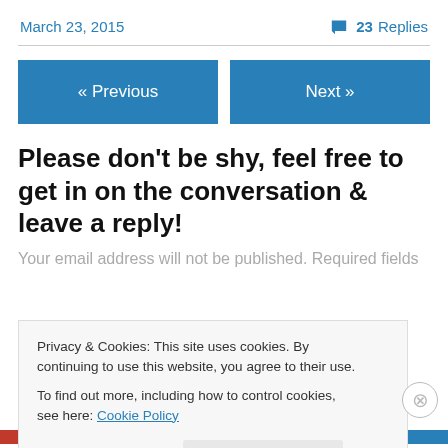March 23, 2015   23 Replies
« Previous   Next »
Please don't be shy, feel free to get in on the conversation & leave a reply!
Your email address will not be published. Required fields
Privacy & Cookies: This site uses cookies. By continuing to use this website, you agree to their use.
To find out more, including how to control cookies, see here: Cookie Policy
Close and accept